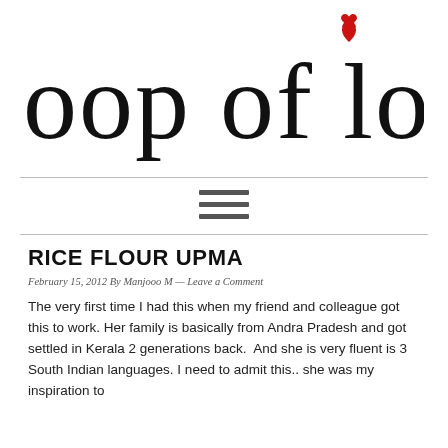[Figure (logo): Scoop of love blog logo in cursive/script font with a red heart above the letter i in 'love']
[Figure (other): Hamburger menu icon (three horizontal lines)]
RICE FLOUR UPMA
February 15, 2012 By Manjooo M — Leave a Comment
The very first time I had this when my friend and colleague got this to work. Her family is basically from Andra Pradesh and got settled in Kerala 2 generations back.  And she is very fluent is 3 South Indian languages. I need to admit this.. she was my inspiration to